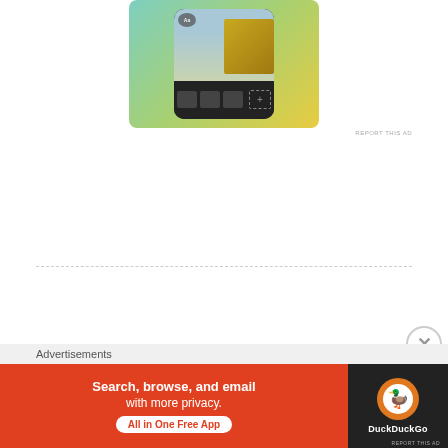[Figure (screenshot): Instagram phone app advertisement showing a phone with a photo of a person in a yellow jacket against a teal/yellow gradient background]
REPORT THIS AD
[Figure (screenshot): Instagram section header with icon and label, followed by a row of images including an aerial water photo]
Advertisements
[Figure (screenshot): DuckDuckGo advertisement banner: Search, browse, and email with more privacy. All in One Free App. DuckDuckGo logo on dark background.]